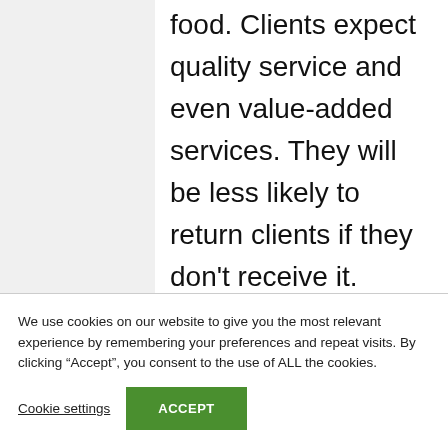food. Clients expect quality service and even value-added services. They will be less likely to return clients if they don't receive it.

Even the smallest things are important, such as demonstrating professionalism
We use cookies on our website to give you the most relevant experience by remembering your preferences and repeat visits. By clicking "Accept", you consent to the use of ALL the cookies.
Cookie settings
ACCEPT